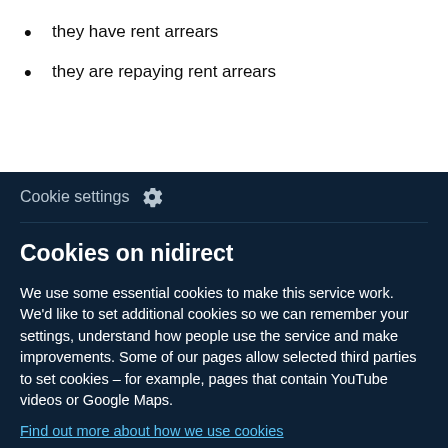they have rent arrears
they are repaying rent arrears
enefit overpayment or budgeting
Cookie settings
Cookies on nidirect
We use some essential cookies to make this service work. We'd like to set additional cookies so we can remember your settings, understand how people use the service and make improvements. Some of our pages allow selected third parties to set cookies – for example, pages that contain YouTube videos or Google Maps.
Find out more about how we use cookies
Reject cookies
Accept cookies